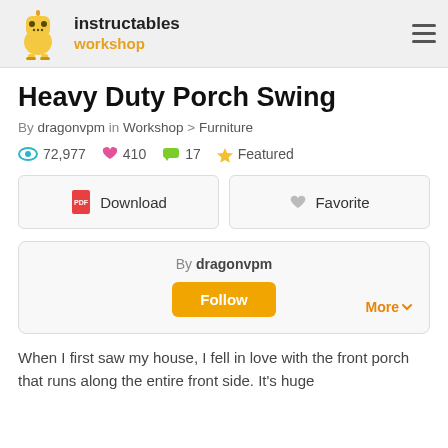instructables workshop
Heavy Duty Porch Swing
By dragonvpm in Workshop > Furniture
72,977  410  17  Featured
Download  Favorite
By dragonvpm  Follow  More
When I first saw my house, I fell in love with the front porch that runs along the entire front side. It's huge